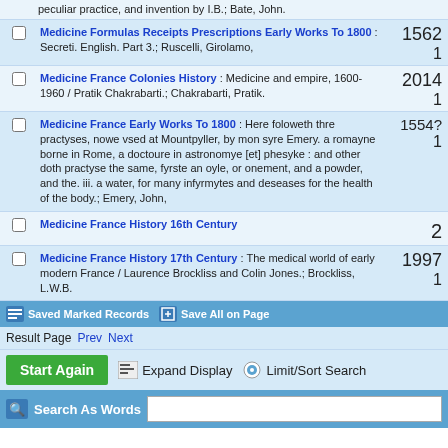peculiar practice, and invention by I.B.; Bate, John.
Medicine Formulas Receipts Prescriptions Early Works To 1800 : Secreti. English. Part 3.; Ruscelli, Girolamo,  1562  1
Medicine France Colonies History : Medicine and empire, 1600-1960 / Pratik Chakrabarti.; Chakrabarti, Pratik.  2014  1
Medicine France Early Works To 1800 : Here foloweth thre practyses, nowe vsed at Mountpyller, by mon syre Emery. a romayne borne in Rome, a doctoure in astronomye [et] phesyke : and other doth practyse the same, fyrste an oyle, or onement, and a powder, and the. iii. a water, for many infyrmytes and deseases for the health of the body.; Emery, John,  1554?  1
Medicine France History 16th Century  2
Medicine France History 17th Century : The medical world of early modern France / Laurence Brockliss and Colin Jones.; Brockliss, L.W.B.  1997  1
Saved Marked Records  Save All on Page
Result Page  Prev  Next
Start Again  Expand Display  Limit/Sort Search
Search As Words